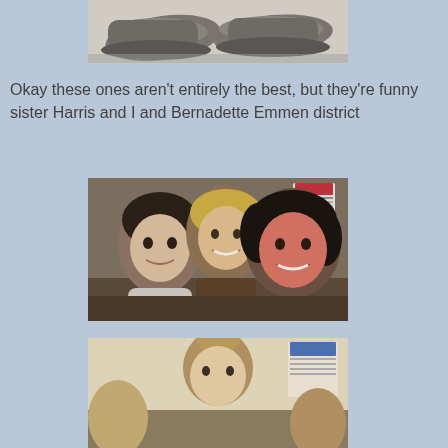[Figure (photo): Photo of a pair of grey/worn shoes on a light surface, cropped at top]
Okay these ones aren't entirely the best, but they're funny sister Harris and I and Bernadette Emmen district
[Figure (photo): Photo of three women smiling closely together indoors, with a calendar visible in the background on the wall]
[Figure (photo): Photo of people indoors, partially visible, cropped at bottom of page]